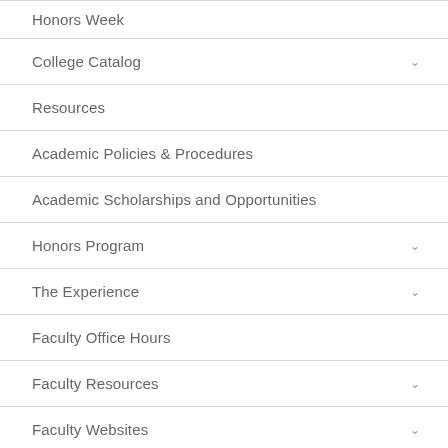Honors Week
College Catalog
Resources
Academic Policies & Procedures
Academic Scholarships and Opportunities
Honors Program
The Experience
Faculty Office Hours
Faculty Resources
Faculty Websites